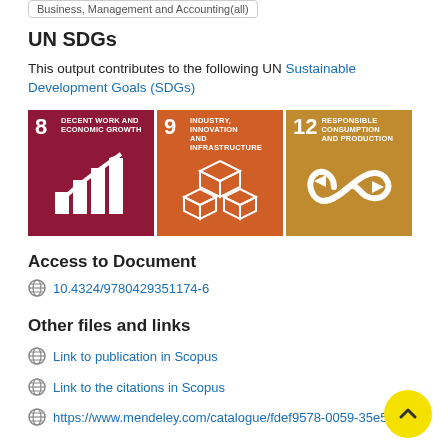Business, Management and Accounting(all)
UN SDGs
This output contributes to the following UN Sustainable Development Goals (SDGs)
[Figure (infographic): Three UN SDG icons: SDG 8 Decent Work and Economic Growth (dark red), SDG 9 Industry Innovation and Infrastructure (orange), SDG 12 Responsible Consumption and Production (golden/olive)]
Access to Document
10.4324/9780429351174-6
Other files and links
Link to publication in Scopus
Link to the citations in Scopus
https://www.mendeley.com/catalogue/fdef9578-0059-35e5-